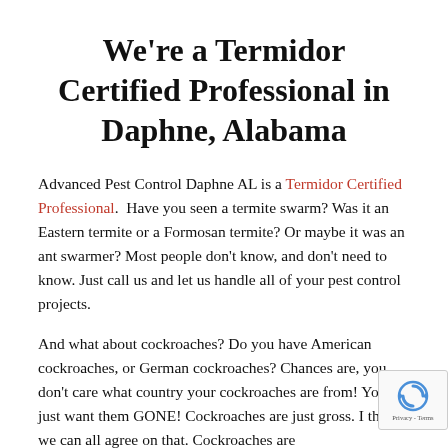We're a Termidor Certified Professional in Daphne, Alabama
Advanced Pest Control Daphne AL is a Termidor Certified Professional.  Have you seen a termite swarm? Was it an Eastern termite or a Formosan termite? Or maybe it was an ant swarmer? Most people don't know, and don't need to know. Just call us and let us handle all of your pest control projects.
And what about cockroaches? Do you have American cockroaches, or German cockroaches? Chances are, you don't care what country your cockroaches are from! You just want them GONE! Cockroaches are just gross. I think we can all agree on that. Cockroaches are